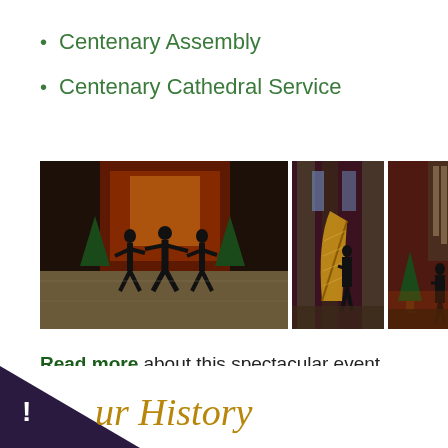Centenary Assembly
Centenary Cathedral Service
[Figure (photo): Three dancers in black performing in a cathedral decorated with Christmas trees and red lighting]
[Figure (photo): A harpist playing a large golden harp in a cathedral with tall stone pillars and red ambient lighting]
[Figure (photo): A person standing near a large pipe organ in a cathedral decorated with Christmas trees and red lighting]
Read more about this spectacular event.
ur History